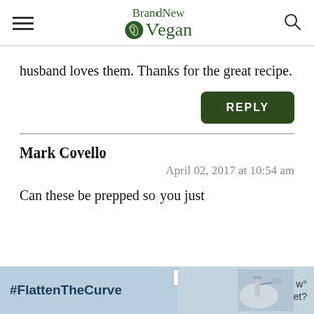BrandNew Vegan
husband loves them. Thanks for the great recipe.
REPLY
Mark Covello
April 02, 2017 at 10:54 am
Can these be prepped so you just
[Figure (screenshot): Advertisement banner at bottom: #FlattenTheCurve with image of handwashing, with close button X]